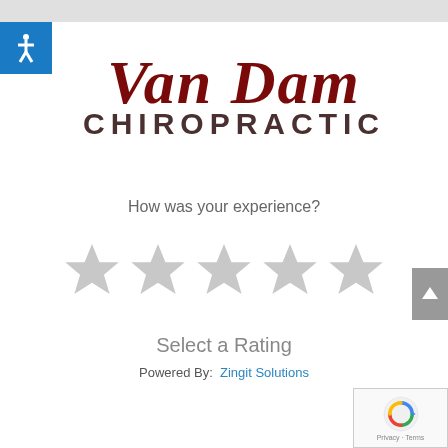[Figure (logo): Van Dam Chiropractic logo with accessibility icon and script/serif text]
How was your experience?
[Figure (infographic): Five empty gray star rating icons]
Select a Rating
Powered By:  Zingit Solutions